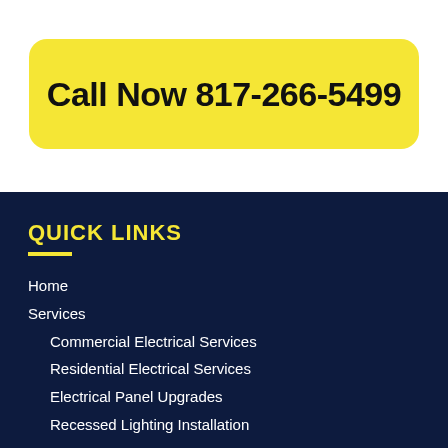Call Now 817-266-5499
QUICK LINKS
Home
Services
Commercial Electrical Services
Residential Electrical Services
Electrical Panel Upgrades
Recessed Lighting Installation